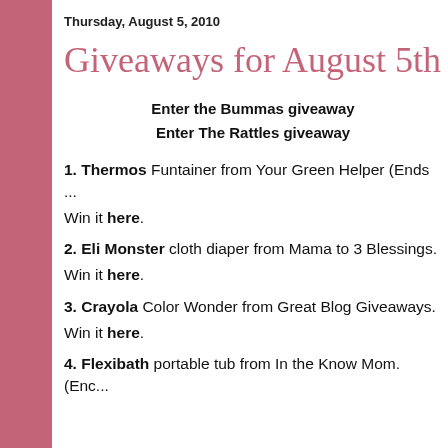Thursday, August 5, 2010
Giveaways for August 5th
Enter the Bummas giveaway
Enter The Rattles giveaway
1. Thermos Funtainer from Your Green Helper (Ends ...
Win it here.
2. Eli Monster cloth diaper from Mama to 3 Blessings.
Win it here.
3. Crayola Color Wonder from Great Blog Giveaways.
Win it here.
4. Flexibath portable tub from In the Know Mom. (Enc...